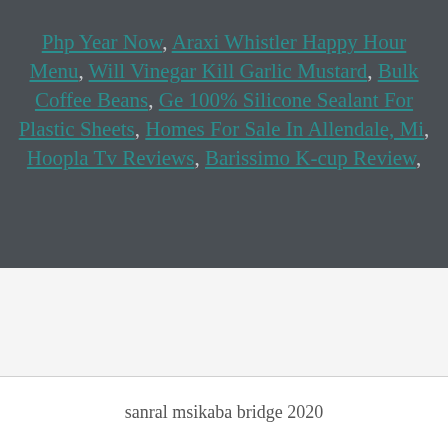Php Year Now, Araxi Whistler Happy Hour Menu, Will Vinegar Kill Garlic Mustard, Bulk Coffee Beans, Ge 100% Silicone Sealant For Plastic Sheets, Homes For Sale In Allendale, Mi, Hoopla Tv Reviews, Barissimo K-cup Review,
sanral msikaba bridge 2020